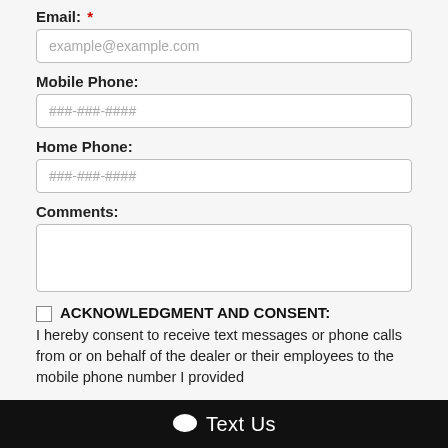Email: *
example@example.com
Mobile Phone:
###-###-####
Home Phone:
###-###-####
Comments:
ACKNOWLEDGMENT AND CONSENT: I hereby consent to receive text messages or phone calls from or on behalf of the dealer or their employees to the mobile phone number I provided
Text Us